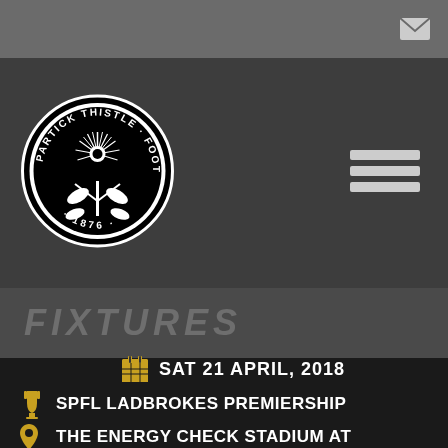[Figure (logo): Partick Thistle Football Club circular badge logo with thistle plant, established 1876, black and white]
FIXTURES
SAT 21 APRIL, 2018
SPFL LADBROKES PREMIERSHIP
THE ENERGY CHECK STADIUM AT